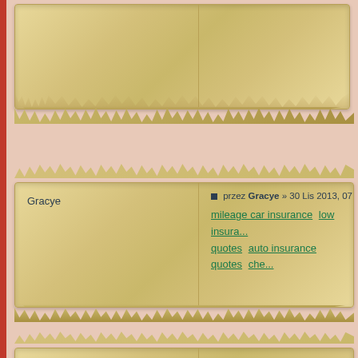[Figure (screenshot): Top partial forum post with parchment scroll background, partially visible]
Gracye
przez Gracye » 30 Lis 2013, 07:47
mileage car insurance low insura... quotes auto insurance quotes che...
River
przez River » 02 Gru 2013, 08:00
cheapest auto insurance free car... owners insurance auto cialis gene...